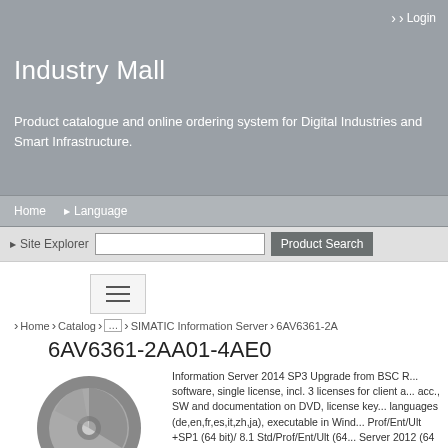› Login
Industry Mall
Product catalogue and online ordering system for Digital Industries and Smart Infrastructure.
Home   ▶ Language
▶ Site Explorer   [search box]   Product Search
6AV6361-2AA01-4AE0
Home › Catalog › ... › SIMATIC Information Server › 6AV6361-2A
[Figure (illustration): CD/DVD disc with a key and USB dongle icon, representing software distribution media]
Information Server 2014 SP3 Upgrade from BSC R... software, single license, incl. 3 licenses for client a... acc., SW and documentation on DVD, license key... languages (de,en,fr,es,it,zh,ja), executable in Wind... Prof/Ent/Ult +SP1 (64 bit)/ 8.1 Std/Prof/Ent/Ult (64... Server 2012 (64 bit)
List Price
Customer Price
DataSheet in PDF
Service & Support / Manuals, Certificates, FAQ...